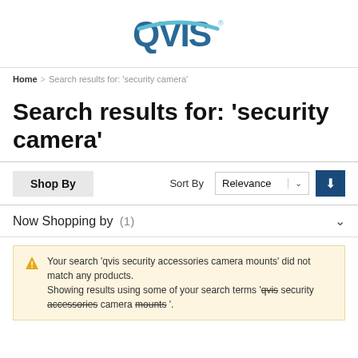[Figure (logo): QVIS logo in teal/dark blue with registered trademark symbol]
Home > Search results for: 'security camera'
Search results for: 'security camera'
Shop By  Sort By  Relevance ↓
Now Shopping by (1)
Your search 'qvis security accessories camera mounts' did not match any products. Showing results using some of your search terms 'qvis security accessories camera mounts '.